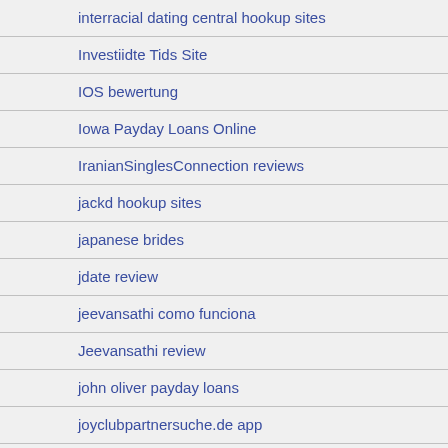interracial dating central hookup sites
Investiidte Tids Site
IOS bewertung
Iowa Payday Loans Online
IranianSinglesConnection reviews
jackd hookup sites
japanese brides
jdate review
jeevansathi como funciona
Jeevansathi review
john oliver payday loans
joyclubpartnersuche.de app